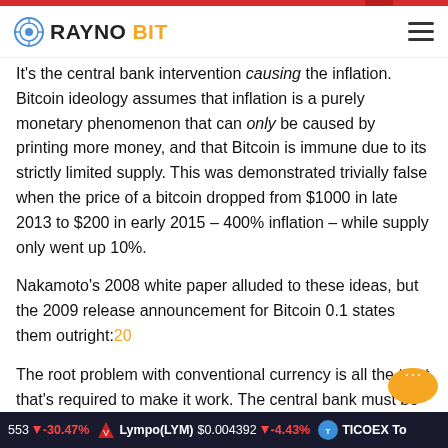RAYNOBIT
It's the central bank intervention causing the inflation. Bitcoin ideology assumes that inflation is a purely monetary phenomenon that can only be caused by printing more money, and that Bitcoin is immune due to its strictly limited supply. This was demonstrated trivially false when the price of a bitcoin dropped from $1000 in late 2013 to $200 in early 2015 – 400% inflation – while supply only went up 10%.
Nakamoto's 2008 white paper alluded to these ideas, but the 2009 release announcement for Bitcoin 0.1 states them outright:20
The root problem with conventional currency is all the trust that's required to make it work. The central bank must be trusted not to debase the currency, but the history of fiat currencies is full of breaches of that trust. Banks must b
553 ↓ -30.47% Lympo(LYM) $0.004392 ↓ -4.43% TICOEX To